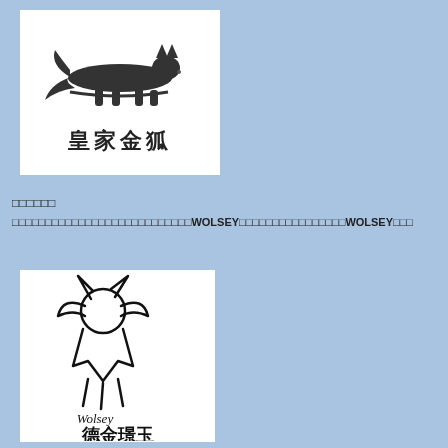[Figure (logo): Logo showing a stylized fox/cat silhouette above Chinese characters 皇家金狐 on white background]
□□□□□□
□□□□□□□□□□□□□□□□□□□□□□□□□□□WOLSEY□□□□□□□□□□□□□□□□WOLSEY□□□
[Figure (logo): Logo showing a hand-drawn fox figure above text 'Wolsey' and Chinese calligraphy characters 德金璟玉 on white background]